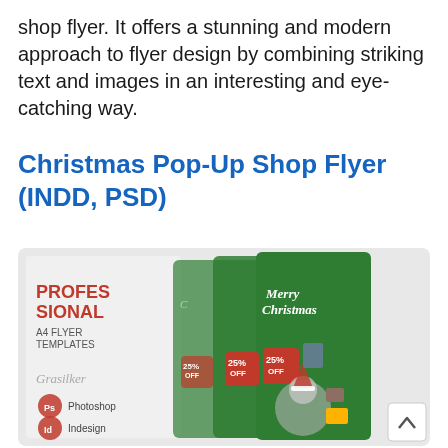shop flyer. It offers a stunning and modern approach to flyer design by combining striking text and images in an interesting and eye-catching way.
Christmas Pop-Up Shop Flyer (INDD, PSD)
[Figure (illustration): Preview image of a Christmas Pop-Up Shop Flyer template showing three overlapping green Christmas-themed A4 flyer designs with 'Merry Christmas' text, 25% OFF tags, and a child wearing a Santa hat. Left side shows 'Professional A4 Flyer Templates' label with Photoshop and Indesign icons.]